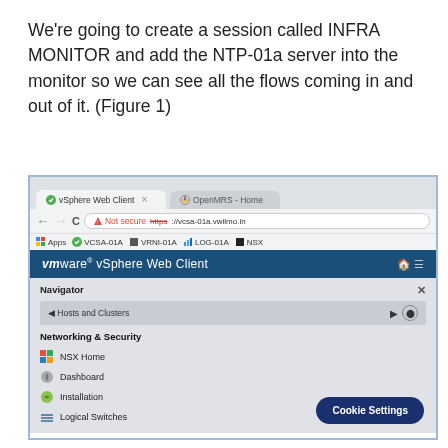We're going to create a session called INFRA MONITOR and add the NTP-01a server into the monitor so we can see all the flows coming in and out of it. (Figure 1)
[Figure (screenshot): Screenshot of VMware vSphere Web Client browser window showing the Navigator panel with Networking & Security section expanded, listing NSX Home, Dashboard, Installation, and Logical Switches menu items. A Cookie Settings button appears in the bottom right.]